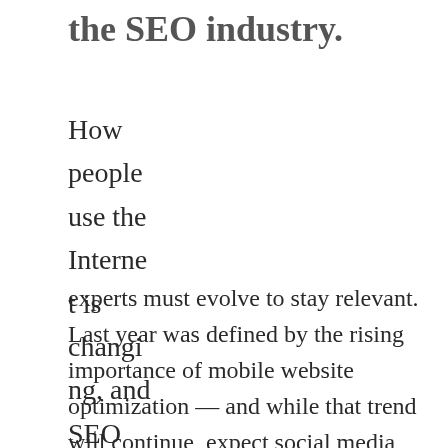the SEO industry.
How people use the Internet is changing, and SEO experts must evolve to stay relevant. Last year was defined by the rising importance of mobile website optimization — and while that trend will continue, expect social media, apps and Google advancements to make increasingly large impacts on the SEO industry. Technology